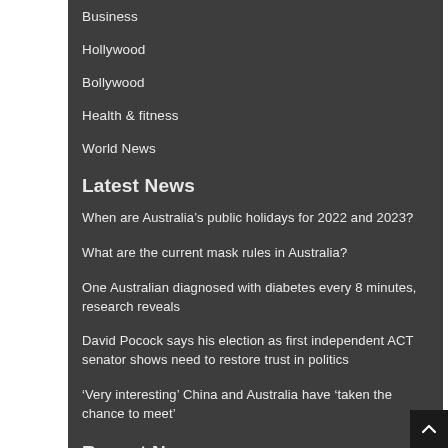Business
Hollywood
Bollywood
Health & fitness
World News
Latest News
When are Australia’s public holidays for 2022 and 2023?
What are the current mask rules in Australia?
One Australian diagnosed with diabetes every 8 minutes, research reveals
David Pocock says his election as first independent ACT senator shows need to restore trust in politics
‘Very interesting’ China and Australia have ‘taken the chance to meet’
Recent News
When are Australia’s public holidays for 2022 and 2023?